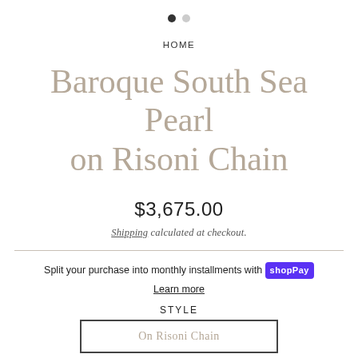[Figure (other): Pagination dots: one filled dark dot and one light gray dot]
HOME
Baroque South Sea Pearl on Risoni Chain
$3,675.00
Shipping calculated at checkout.
Split your purchase into monthly installments with Shop Pay
Learn more
STYLE
On Risoni Chain
QUANTITY